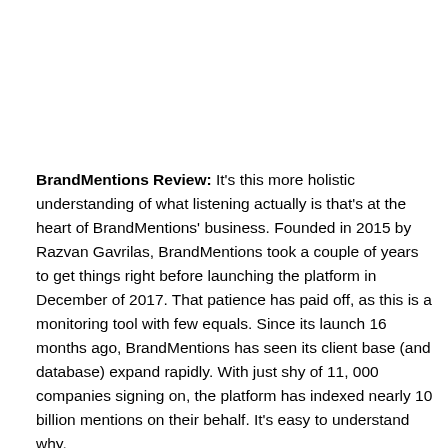BrandMentions Review: It's this more holistic understanding of what listening actually is that's at the heart of BrandMentions' business. Founded in 2015 by Razvan Gavrilas, BrandMentions took a couple of years to get things right before launching the platform in December of 2017. That patience has paid off, as this is a monitoring tool with few equals. Since its launch 16 months ago, BrandMentions has seen its client base (and database) expand rapidly. With just shy of 11, 000 companies signing on, the platform has indexed nearly 10 billion mentions on their behalf. It's easy to understand why.